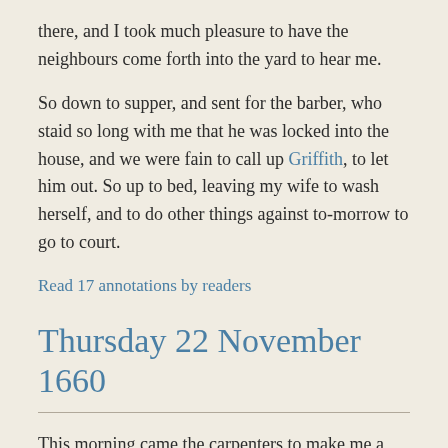there, and I took much pleasure to have the neighbours come forth into the yard to hear me.
So down to supper, and sent for the barber, who staid so long with me that he was locked into the house, and we were fain to call up Griffith, to let him out. So up to bed, leaving my wife to wash herself, and to do other things against to-morrow to go to court.
Read 17 annotations by readers
Thursday 22 November 1660
This morning came the carpenters to make me a door at the other side of my house, going into the entry, which I was much pleased with.
At noon my wife and I walked to the Old Exchange, and